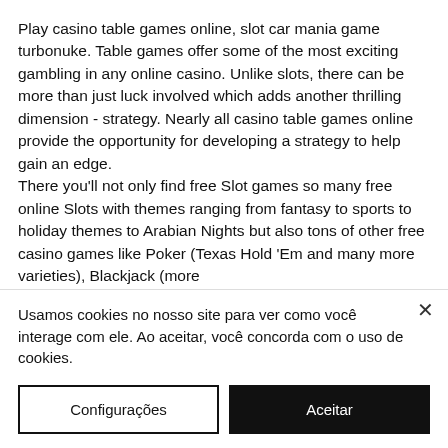Play casino table games online, slot car mania game turbonuke. Table games offer some of the most exciting gambling in any online casino. Unlike slots, there can be more than just luck involved which adds another thrilling dimension - strategy. Nearly all casino table games online provide the opportunity for developing a strategy to help gain an edge.
There you'll not only find free Slot games so many free online Slots with themes ranging from fantasy to sports to holiday themes to Arabian Nights but also tons of other free casino games like Poker (Texas Hold 'Em and many more varieties), Blackjack (more
Usamos cookies no nosso site para ver como você interage com ele. Ao aceitar, você concorda com o uso de cookies.
Configurações
Aceitar